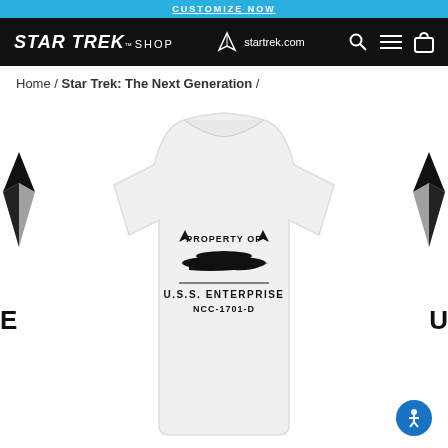CUSTOMIZE NOW
STAR TREK SHOP | startrek.com
Home / Star Trek: The Next Generation /
[Figure (photo): White t-shirt with 'PROPERTY OF U.S.S. ENTERPRISE NCC-1701-D' graphic featuring the Enterprise starship silhouette, displayed on a product page with partial views of adjacent product images on left and right sides.]